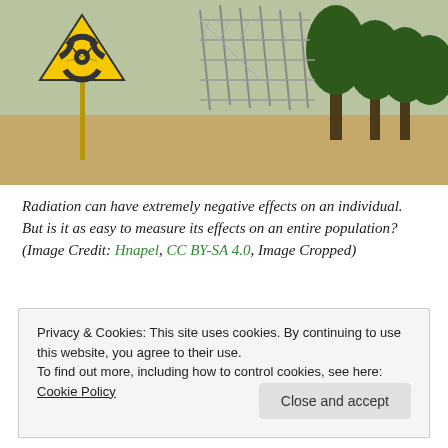[Figure (photo): Photo of a radioactive warning sign (yellow triangle with radiation symbol) in front of industrial scaffolding/framework structure and trees in the background, likely near Chernobyl exclusion zone.]
Radiation can have extremely negative effects on an individual. But is it as easy to measure its effects on an entire population? (Image Credit: Hnapel, CC BY-SA 4.0, Image Cropped)
Variation in chronic radiation exposure does not drive life history divergence among Daphnia
Privacy & Cookies: This site uses cookies. By continuing to use this website, you agree to their use.
To find out more, including how to control cookies, see here: Cookie Policy